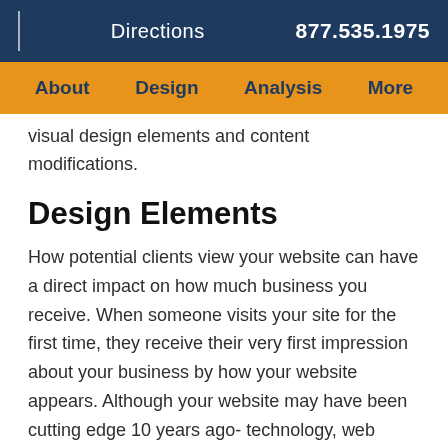Directions  877.535.1975
About  Design  Analysis  More
visual design elements and content modifications.
Design Elements
How potential clients view your website can have a direct impact on how much business you receive. When someone visits your site for the first time, they receive their very first impression about your business by how your website appears. Although your website may have been cutting edge 10 years ago- technology, web standards, and general expectations towards the internet have